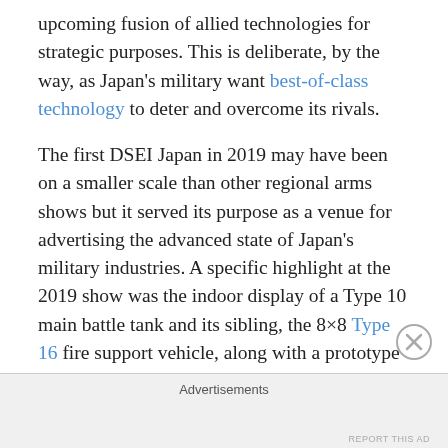upcoming fusion of allied technologies for strategic purposes. This is deliberate, by the way, as Japan's military want best-of-class technology to deter and overcome its rivals.
The first DSEI Japan in 2019 may have been on a smaller scale than other regional arms shows but it served its purpose as a venue for advertising the advanced state of Japan's military industries. A specific highlight at the 2019 show was the indoor display of a Type 10 main battle tank and its sibling, the 8×8 Type 16 fire support vehicle, along with a prototype wheeled APC that could soon enter service. Some of the world's largest military-industrial enterprises were at the show too and commanded
Advertisements